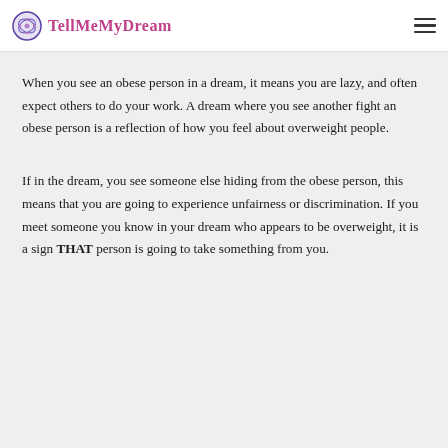TellMeMyDream
When you see an obese person in a dream, it means you are lazy, and often expect others to do your work. A dream where you see another fight an obese person is a reflection of how you feel about overweight people.
If in the dream, you see someone else hiding from the obese person, this means that you are going to experience unfairness or discrimination. If you meet someone you know in your dream who appears to be overweight, it is a sign THAT person is going to take something from you.